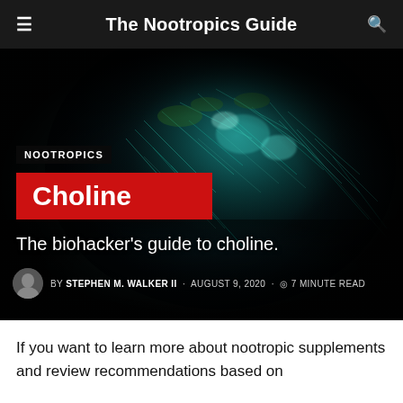The Nootropics Guide
[Figure (photo): Microscopic teal/blue and green neural or biological structure on a dark background, circular vignette style]
NOOTROPICS
Choline
The biohacker's guide to choline.
BY STEPHEN M. WALKER II · AUGUST 9, 2020 · 7 MINUTE READ
If you want to learn more about nootropic supplements and review recommendations based on